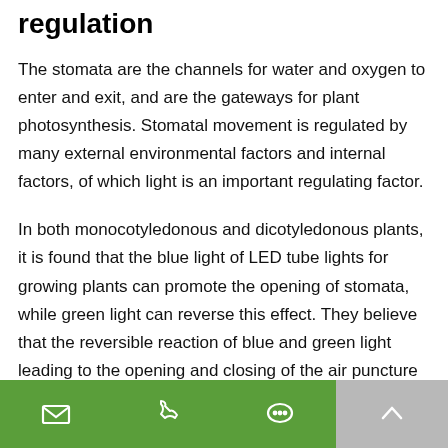regulation
The stomata are the channels for water and oxygen to enter and exit, and are the gateways for plant photosynthesis. Stomatal movement is regulated by many external environmental factors and internal factors, of which light is an important regulating factor.
In both monocotyledonous and dicotyledonous plants, it is found that the blue light of LED tube lights for growing plants can promote the opening of stomata, while green light can reverse this effect. They believe that the reversible reaction of blue and green light leading to the opening and closing of the air puncture may be derived
[email icon] [phone icon] [chat icon] [up arrow icon]